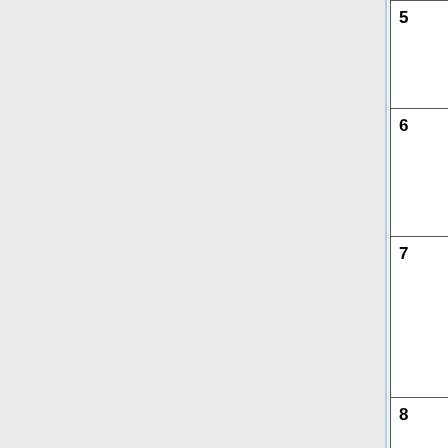| Week | Date | Topic |  |
| --- | --- | --- | --- |
| 5 | 30 Oct. (W) | Solution Generation & Evaluation: Morphology Charts, Pugh Charts, etc. |  |
| 6 | 6 Nov. (W) | PDRs & Prototyping |  |
| 7 | 13 Nov. (W) | DARPA Urban Circuit Discussion
PDR review and questions |  |
| 8 | 20 Nov. (W) | PDRs and next steps |  |
| 9 | 26 Nov. (Tu) | Review of Estimation, Localization, Mapping |  |